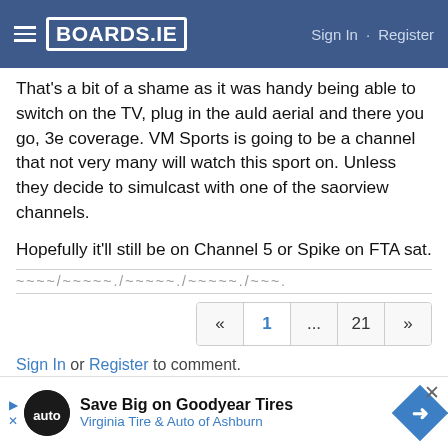BOARDS.IE — Sign In · Register
That's a bit of a shame as it was handy being able to switch on the TV, plug in the auld aerial and there you go, 3e coverage. VM Sports is going to be a channel that not very many will watch this sport on. Unless they decide to simulcast with one of the saorview channels.
Hopefully it'll still be on Channel 5 or Spike on FTA sat.
« 1 ... 21 »
Sign In or Register to comment.
Howdy, Stranger!
It looks like you're new here. Sign in or register to get started.
[Figure (advertisement): Ad for Virginia Tire & Auto of Ashburn — Save Big on Goodyear Tires]